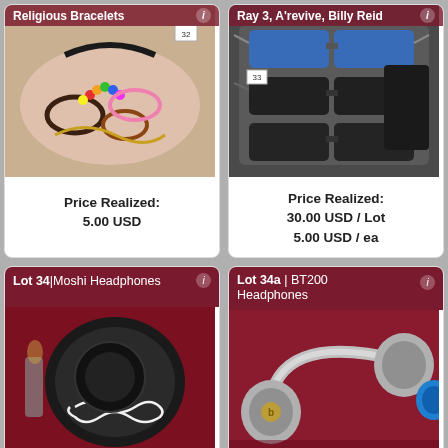Religious Bracelets
[Figure (photo): Tray of assorted religious bracelets and jewelry on a pink tray]
Price Realized:
5.00 USD
Ray 3, A'revive, Billy Reid
[Figure (photo): Several pairs of sunglasses in a tray/case]
Price Realized:
30.00 USD / Lot
5.00 USD / ea
Lot 34 | Moshi Headphones
[Figure (photo): Moshi headphones in a black case with white cable]
Lot 34a | BT200 Headphones
[Figure (photo): BT200 over-ear headphones in grey and blue]